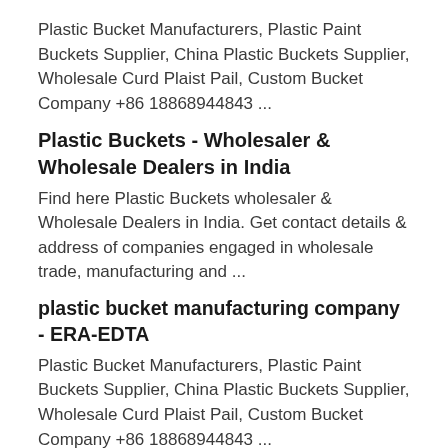Plastic Bucket Manufacturers, Plastic Paint Buckets Supplier, China Plastic Buckets Supplier, Wholesale Curd Plaist Pail, Custom Bucket Company +86 18868944843 ...
Plastic Buckets - Wholesaler & Wholesale Dealers in India
Find here Plastic Buckets wholesaler & Wholesale Dealers in India. Get contact details & address of companies engaged in wholesale trade, manufacturing and ...
plastic bucket manufacturing company - ERA-EDTA
Plastic Bucket Manufacturers, Plastic Paint Buckets Supplier, China Plastic Buckets Supplier, Wholesale Curd Plaist Pail, Custom Bucket Company +86 18868944843 ...
1-48 of over 40000 results for "Plastic Buckets" -